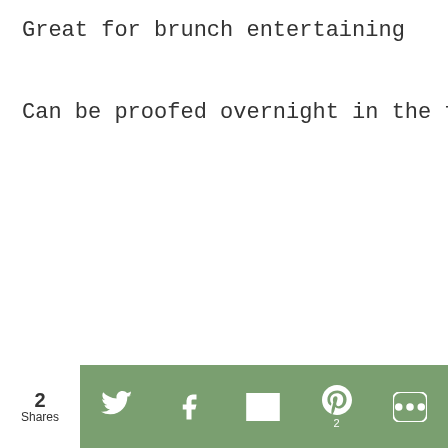Great for brunch entertaining
Can be proofed overnight in the fridge
2 Shares | Twitter | Facebook | Email | Pinterest (2) | More